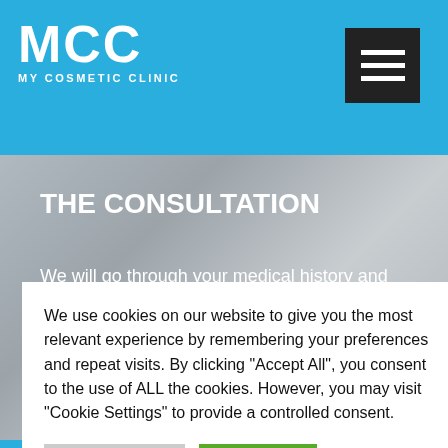MCC MY COSMETIC CLINIC
THE CONSULTATION
We will go through your medical history and address any concerns and questions that you may have and discuss the risks and benefits of the treatment options with you.
We use cookies on our website to give you the most relevant experience by remembering your preferences and repeat visits. By clicking "Accept All", you consent to the use of ALL the cookies. However, you may visit "Cookie Settings" to provide a controlled consent.